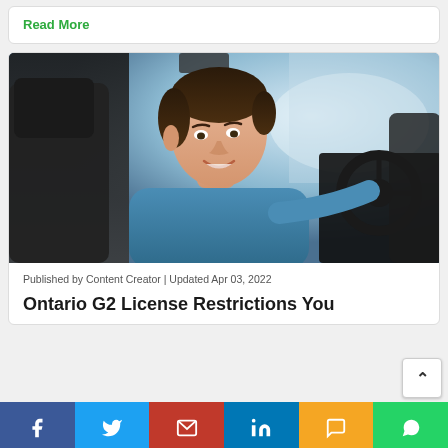Read More
[Figure (photo): Young man in blue shirt smiling over his shoulder while sitting in driver's seat of a car, hand on steering wheel]
Published by Content Creator | Updated Apr 03, 2022
Ontario G2 License Restrictions You
[Figure (infographic): Social share bar with Facebook, Twitter, Email, LinkedIn, SMS, and WhatsApp buttons]